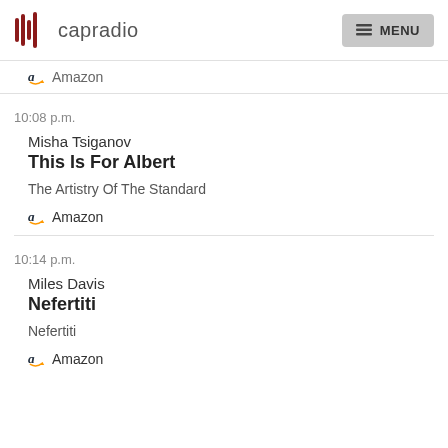capradio  MENU
Amazon
10:08 p.m.
Misha Tsiganov
This Is For Albert
The Artistry Of The Standard
Amazon
10:14 p.m.
Miles Davis
Nefertiti
Nefertiti
Amazon